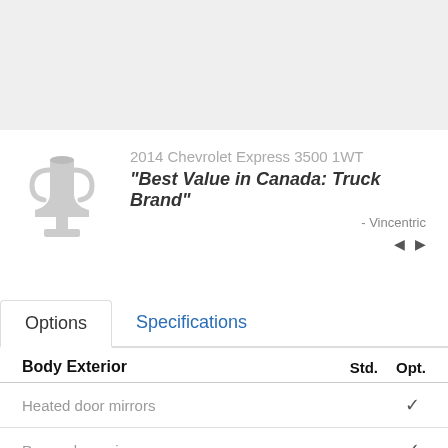[Figure (illustration): Gray banner area at top of page, placeholder image region]
2014 Chevrolet Express 3500 1WT
"Best Value in Canada: Truck Brand"
- Vincentric
Options | Specifications
| Body Exterior | Std. | Opt. |
| --- | --- | --- |
| Heated door mirrors |  | ✓ |
| Power door mirrors |  | ✓ |
| Trailer hitch receiver |  | ✓ |
| Convenience Features | Std. | Opt. |
| --- | --- | --- |